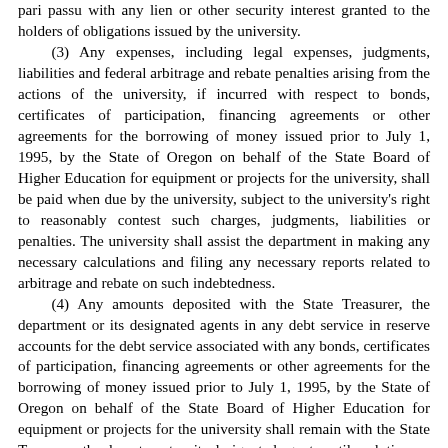pari passu with any lien or other security interest granted to the holders of obligations issued by the university.
(3) Any expenses, including legal expenses, judgments, liabilities and federal arbitrage and rebate penalties arising from the actions of the university, if incurred with respect to bonds, certificates of participation, financing agreements or other agreements for the borrowing of money issued prior to July 1, 1995, by the State of Oregon on behalf of the State Board of Higher Education for equipment or projects for the university, shall be paid when due by the university, subject to the university's right to reasonably contest such charges, judgments, liabilities or penalties. The university shall assist the department in making any necessary calculations and filing any necessary reports related to arbitrage and rebate on such indebtedness.
(4) Any amounts deposited with the State Treasurer, the department or its designated agents in any debt service in reserve accounts for the debt service associated with any bonds, certificates of participation, financing agreements or other agreements for the borrowing of money issued prior to July 1, 1995, by the State of Oregon on behalf of the State Board of Higher Education for equipment or projects for the university shall remain with the State Treasurer, the department or its designated agents until such time as the bonds, certificates of participation, financing agreements or other agreements for the borrowing of money for which such reserve accounts have been established have been retired and found. The university shall be credited with the